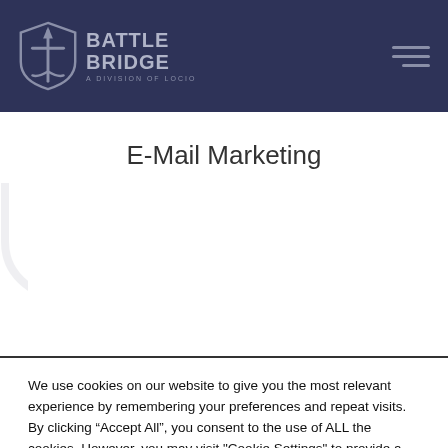Battle Bridge — A Division of Locio
E-Mail Marketing
We use cookies on our website to give you the most relevant experience by remembering your preferences and repeat visits. By clicking “Accept All”, you consent to the use of ALL the cookies. However, you may visit "Cookie Settings" to provide a controlled consent.